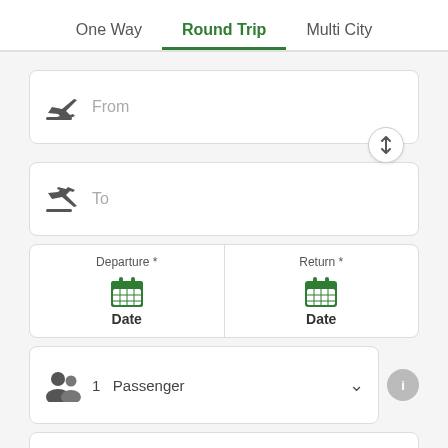One Way   Round Trip   Multi City
From
To
Departure * Date
Return * Date
1  Passenger
All Classes